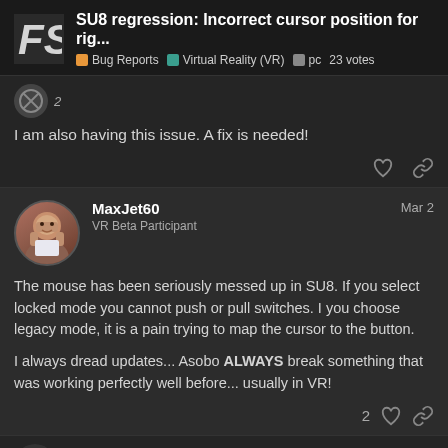SU8 regression: Incorrect cursor position for rig... | Bug Reports | Virtual Reality (VR) | pc | 23 votes
I am also having this issue. A fix is needed!
MaxJet60 | VR Beta Participant | Mar 2
The mouse has been seriously messed up in SU8. If you select locked mode you cannot push or pull switches. I you choose legacy mode, it is a pain trying to map the cursor to the button.

I always dread updates... Asobo ALWAYS break something that was working perfectly well before... usually in VR!
Cliffyboy1962
1 / 15